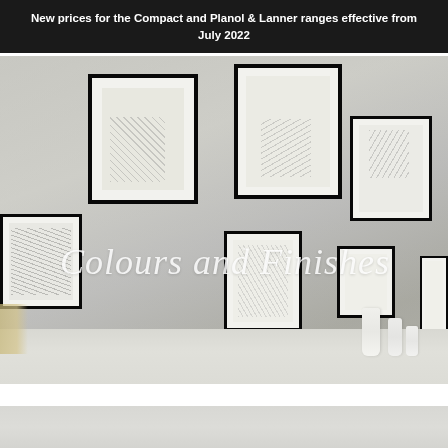New prices for the Compact and Planol & Lanner ranges effective from July 2022
[Figure (photo): Interior lifestyle photo showing a gallery wall with multiple black-framed artworks displaying ink/sketch illustrations on a light grey wall, with white vases on a surface below. Overlaid with cursive watermark text reading 'Colours and Finishes'.]
[Figure (photo): Bottom grey panel, likely a continuation of a product/finish swatch or decorative section.]